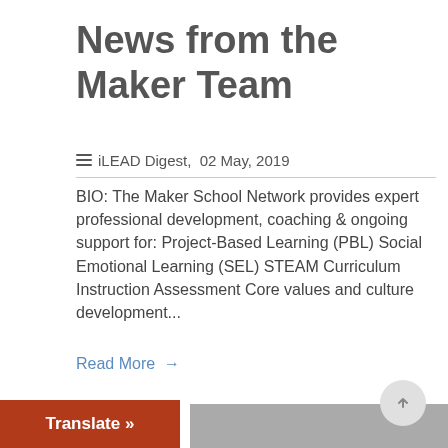News from the Maker Team
≡ iLEAD Digest,  02 May, 2019
BIO: The Maker School Network provides expert professional development, coaching & ongoing support for: Project-Based Learning (PBL) Social Emotional Learning (SEL) STEAM Curriculum Instruction Assessment Core values and culture development...
Read More →
Translate »